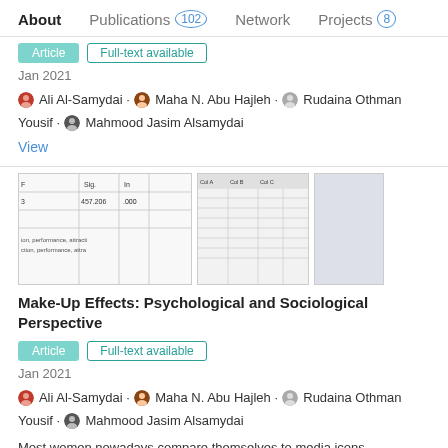About  Publications 102  Network  Projects 8
Jan 2021
Ali Al-Samydai · Maha N. Abu Hajleh · Rudaina Othman Yousif · Mahmood Jasim Alsamydai
View
[Figure (screenshot): Thumbnail images of a research paper showing statistical tables and data]
Make-Up Effects: Psychological and Sociological Perspective
Article  Full-text available
Jan 2021
Ali Al-Samydai · Maha N. Abu Hajleh · Rudaina Othman Yousif · Mahmood Jasim Alsamydai
Most women nowadays compare themselves to media icons,